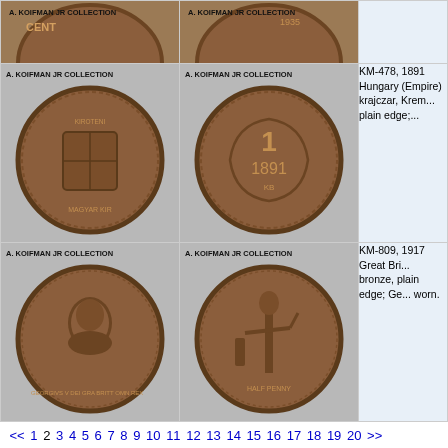[Figure (photo): Two coin images (obverse/reverse) cropped at top of page - bottom portion of coins visible]
[Figure (photo): A. KOIFMAN JR COLLECTION - 1891 Hungary Empire krajczar coin obverse with coat of arms]
[Figure (photo): A. KOIFMAN JR COLLECTION - 1891 Hungary Empire krajczar coin reverse with '1' and date 1891]
KM-478, 1891 Hungary (Empire) krajczar, Krem... plain edge;...
[Figure (photo): A. KOIFMAN JR COLLECTION - 1917 Great Britain coin obverse with king portrait]
[Figure (photo): A. KOIFMAN JR COLLECTION - 1917 Great Britain coin reverse with Britannia figure]
KM-809, 1917 Great Bri... bronze, plain edge; Ge... worn.
<< 1 2 3 4 5 6 7 8 9 10 11 12 13 14 15 16 17 18 19 20 >>
© Copyright 2004-2013 OmniCoin   Contact   Site Map   Privacy Policy   Help